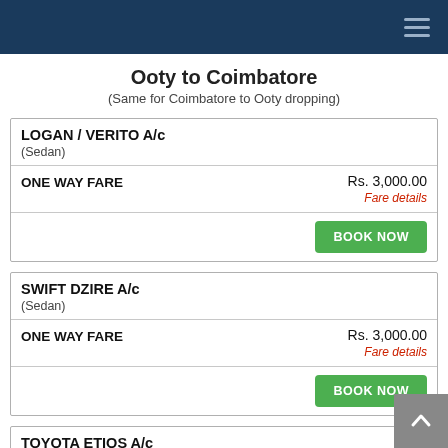Navigation menu
Ooty to Coimbatore
(Same for Coimbatore to Ooty dropping)
|  |  |
| --- | --- |
| LOGAN / VERITO A/c |  |
| (Sedan) |  |
| ONE WAY FARE | Rs. 3,000.00
Fare details |
|  | BOOK NOW |
|  |  |
| --- | --- |
| SWIFT DZIRE A/c |  |
| (Sedan) |  |
| ONE WAY FARE | Rs. 3,000.00
Fare details |
|  | BOOK NOW |
|  |  |
| --- | --- |
| TOYOTA ETIOS A/c |  |
| (Sedan) |  |